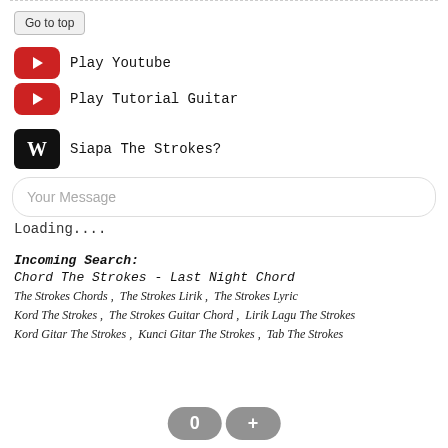Go to top
Play Youtube
Play Tutorial Guitar
Siapa The Strokes?
Your Message
Loading....
Incoming Search:
Chord The Strokes - Last Night Chord
The Strokes Chords , The Strokes Lirik , The Strokes Lyric
Kord The Strokes , The Strokes Guitar Chord , Lirik Lagu The Strokes
Kord Gitar The Strokes , Kunci Gitar The Strokes , Tab The Strokes